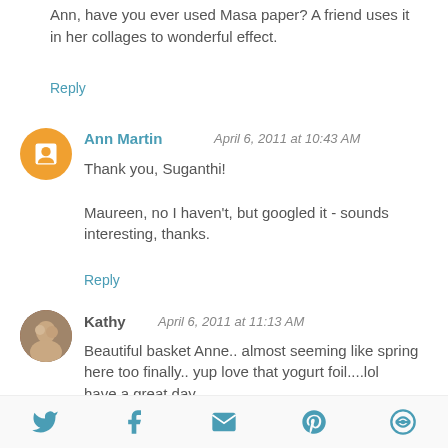Ann, have you ever used Masa paper? A friend uses it in her collages to wonderful effect.
Reply
Ann Martin  April 6, 2011 at 10:43 AM
Thank you, Suganthi!

Maureen, no I haven't, but googled it - sounds interesting, thanks.
Reply
Kathy  April 6, 2011 at 11:13 AM
Beautiful basket Anne.. almost seeming like spring here too finally.. yup love that yogurt foil....lol
have a great day..
Kath
xx
[Figure (infographic): Social sharing icons row: Twitter bird, Facebook f, email envelope, Pinterest P, feed/RSS circle icon]